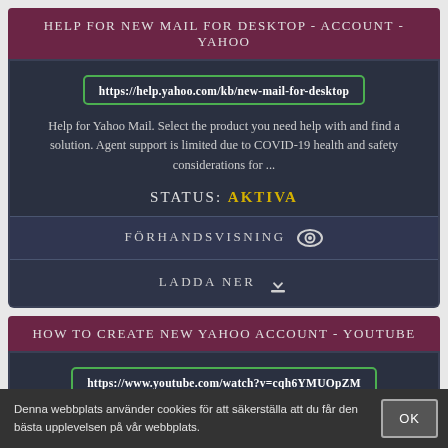HELP FOR NEW MAIL FOR DESKTOP - ACCOUNT - YAHOO
https://help.yahoo.com/kb/new-mail-for-desktop
Help for Yahoo Mail. Select the product you need help with and find a solution. Agent support is limited due to COVID-19 health and safety considerations for ...
STATUS: AKTIVA
FÖRHANDSVISNING
LADDA NER
HOW TO CREATE NEW YAHOO ACCOUNT - YOUTUBE
https://www.youtube.com/watch?v=cqh6YMUOpZM
Denna webbplats använder cookies för att säkerställa att du får den bästa upplevelsen på vår webbplats.